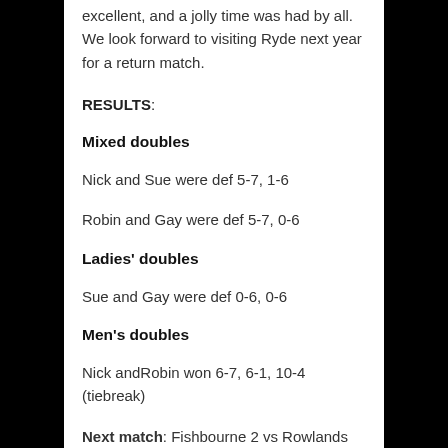excellent, and a jolly time was had by all. We look forward to visiting Ryde next year for a return match.
RESULTS:
Mixed doubles
Nick and Sue were def 5-7, 1-6
Robin and Gay were def 5-7, 0-6
Ladies' doubles
Sue and Gay were def 0-6, 0-6
Men's doubles
Nick andRobin won 6-7, 6-1, 10-4 (tiebreak)
Next match: Fishbourne 2 vs Rowlands Castle at Fishbourne, 3 December